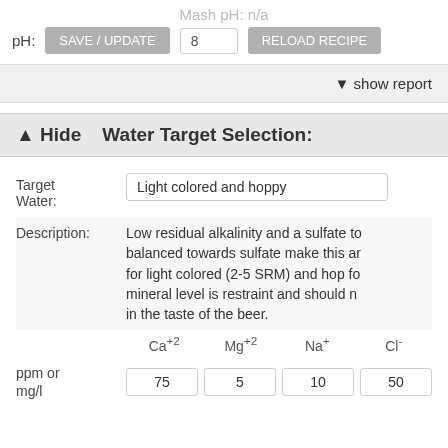Mash pH: n/a
pH:
SAVE / UPDATE
8
RELOAD RECIPE
▼ show report
▲ Hide   Water Target Selection:
Target Water:
Light colored and hoppy
Description:
Low residual alkalinity and a sulfate to balanced towards sulfate make this an for light colored (2-5 SRM) and hop for mineral level is restraint and should n in the taste of the beer.
Ca+2   Mg+2   Na+   Cl-
ppm or mg/l
75   5   10   50